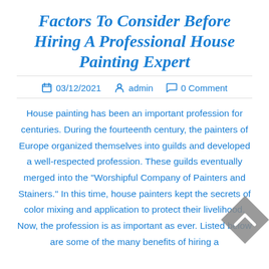Factors To Consider Before Hiring A Professional House Painting Expert
03/12/2021   admin   0 Comment
House painting has been an important profession for centuries. During the fourteenth century, the painters of Europe organized themselves into guilds and developed a well-respected profession. These guilds eventually merged into the "Worshipful Company of Painters and Stainers." In this time, house painters kept the secrets of color mixing and application to protect their livelihood. Now, the profession is as important as ever. Listed below are some of the many benefits of hiring a